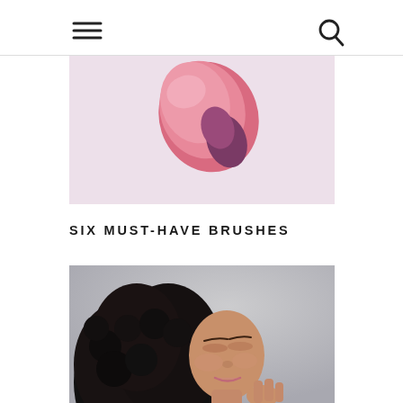Navigation header with menu icon and search icon
[Figure (photo): Close-up photo of a pink makeup brush or sponge against a light pinkish-white background]
SIX MUST-HAVE BRUSHES
[Figure (photo): Photo of a young woman with curly black hair, eyes closed, touching her face, against a gray background]